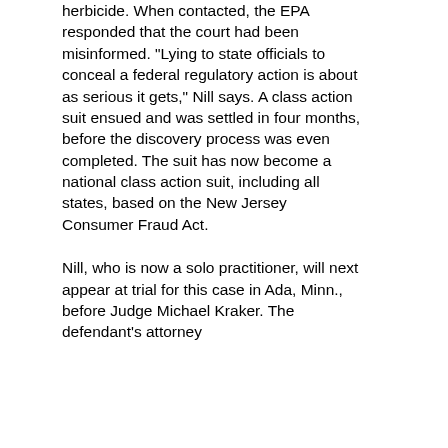herbicide. When contacted, the EPA responded that the court had been misinformed. "Lying to state officials to conceal a federal regulatory action is about as serious it gets," Nill says. A class action suit ensued and was settled in four months, before the discovery process was even completed. The suit has now become a national class action suit, including all states, based on the New Jersey Consumer Fraud Act.
Nill, who is now a solo practitioner, will next appear at trial for this case in Ada, Minn., before Judge Michael Kraker. The defendant's attorney is Peter Nill. A...